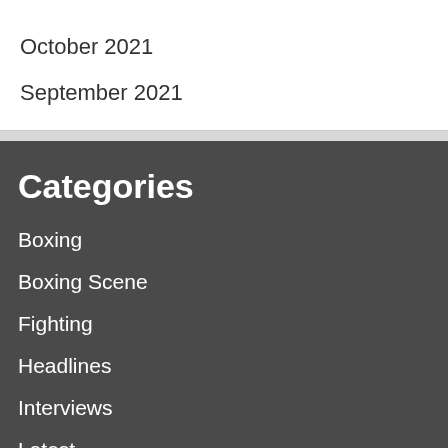October 2021
September 2021
Categories
Boxing
Boxing Scene
Fighting
Headlines
Interviews
Latest
Results